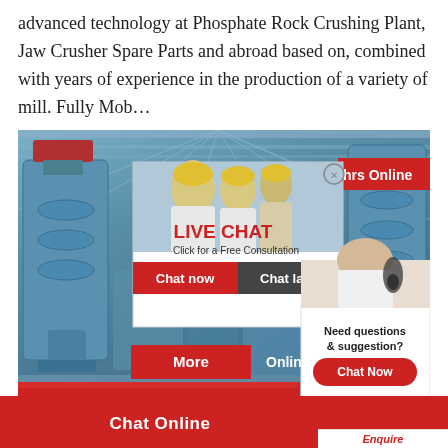advanced technology at Phosphate Rock Crushing Plant, Jaw Crusher Spare Parts and abroad based on, combined with years of experience in the production of a variety of mill. Fully Mob…
[Figure (photo): Industrial machinery plant interior with blue cylindrical milling machines, overlaid with a live chat popup showing workers in hard hats, chat now/chat later buttons, a headset customer service agent sidebar with 'Need questions & suggestion? Chat Now', a 'More' button, bottom red bar with 'Chat Online' text, and 'Enquire' label.]